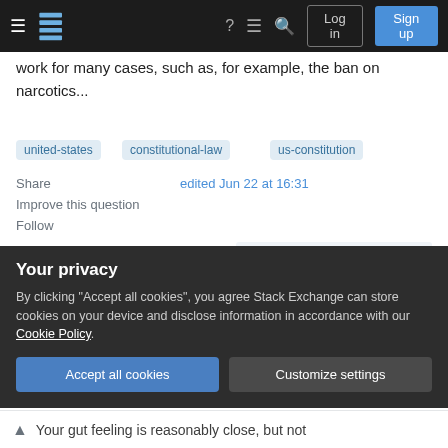Stack Exchange navigation bar with logo, icons, Log in, Sign up
work for many cases, such as, for example, the ban on narcotics...
united-states
constitutional-law
us-constitution
Share
Improve this question
Follow
edited Jun 22 at 16:31
asked Jun 22 at 16:09
Mikhail T.
221 ●1 ●7
Your privacy
By clicking "Accept all cookies", you agree Stack Exchange can store cookies on your device and disclose information in accordance with our Cookie Policy.
Accept all cookies
Customize settings
Your gut feeling is reasonably close, but not